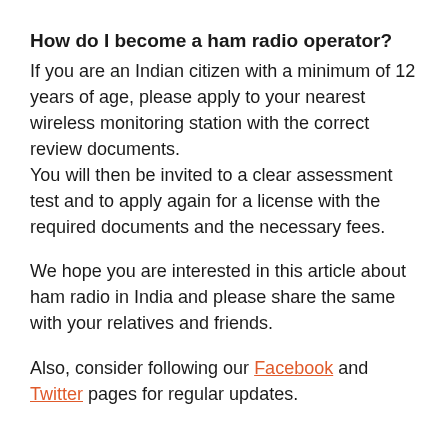How do I become a ham radio operator?
If you are an Indian citizen with a minimum of 12 years of age, please apply to your nearest wireless monitoring station with the correct review documents.
You will then be invited to a clear assessment test and to apply again for a license with the required documents and the necessary fees.
We hope you are interested in this article about ham radio in India and please share the same with your relatives and friends.
Also, consider following our Facebook and Twitter pages for regular updates.